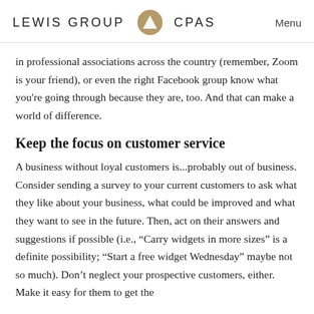LEWIS GROUP CPAS    Menu
in professional associations across the country (remember, Zoom is your friend), or even the right Facebook group know what you're going through because they are, too. And that can make a world of difference.
Keep the focus on customer service
A business without loyal customers is...probably out of business. Consider sending a survey to your current customers to ask what they like about your business, what could be improved and what they want to see in the future. Then, act on their answers and suggestions if possible (i.e., “Carry widgets in more sizes” is a definite possibility; “Start a free widget Wednesday” maybe not so much). Don’t neglect your prospective customers, either. Make it easy for them to get the